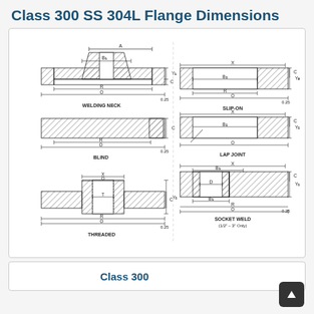Class 300 SS 304L Flange Dimensions
[Figure (engineering-diagram): Six flange type cross-section engineering diagrams showing dimensions: Welding Neck, Blind, Threaded (left column) and Slip-On, Lap Joint, Socket Weld (right column). Each diagram shows labeled dimension lines for A, B1, B2, C, D, O, R, X, Y, Y2, Y3 measurements with hatching to indicate material cross-sections.]
Class 300